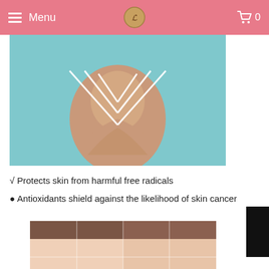Menu  0
[Figure (photo): Woman sitting cross-legged with a glowing white geometric chevron/heart shape overlay on a teal background]
√ Protects skin from harmful free radicals
• Antioxidants shield against the likelihood of skin cancer
[Figure (photo): Close-up of a woman's face with a transparent grid overlay showing skin analysis sections]